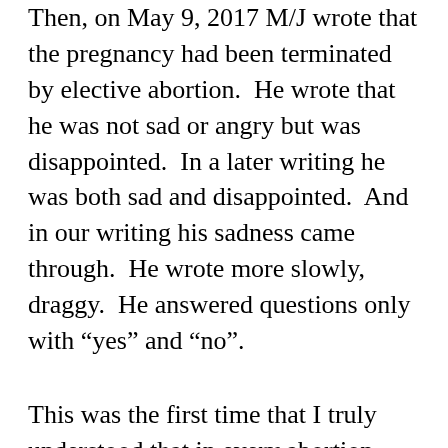Then, on May 9, 2017 M/J wrote that the pregnancy had been terminated by elective abortion.  He wrote that he was not sad or angry but was disappointed.  In a later writing he was both sad and disappointed.  And in our writing his sadness came through.  He wrote more slowly, draggy.  He answered questions only with “yes” and “no”.
This was the first time that I truly understood that in every abortion there are three beings involved:  the mother, the father, and the being waiting to live an incarnate life in a new physical body.  On the issue of abortion I am both prolife and